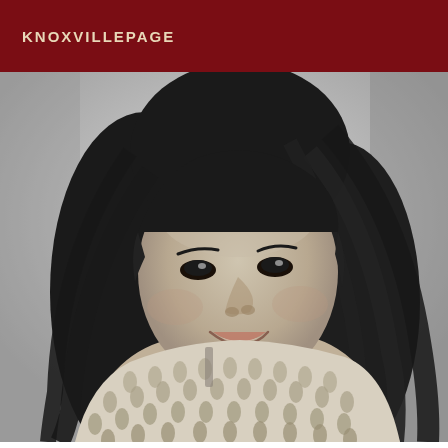KNOXVILLEPAGE
[Figure (photo): Black and white portrait photograph of a young woman with long dark hair, wearing a pearl necklace and an open-knit/crochet top, smiling at the camera against a light background.]